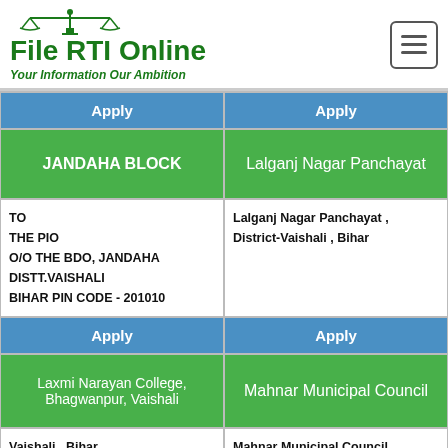[Figure (logo): File RTI Online logo with scales of justice icon and tagline 'Your Information Our Ambition']
| Apply | Apply |
| --- | --- |
| JANDAHA BLOCK | Lalganj Nagar Panchayat |
| TO
THE PIO
O/O THE BDO, JANDAHA
DISTT.VAISHALI
BIHAR PIN CODE - 201010 | Lalganj Nagar Panchayat , District-Vaishali , Bihar |
| Apply | Apply |
| Laxmi Narayan College, Bhagwanpur, Vaishali | Mahnar Municipal Council |
| Vaishali , Bihar | Mahnar Municipal Council , |